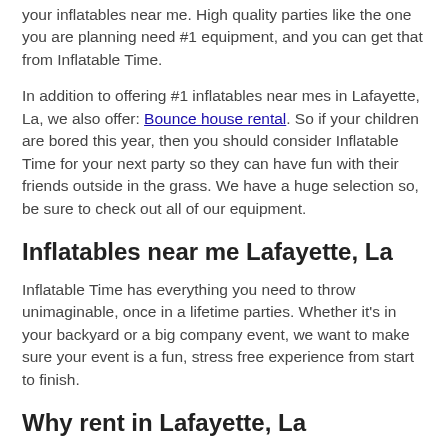your inflatables near me. High quality parties like the one you are planning need #1 equipment, and you can get that from Inflatable Time.
In addition to offering #1 inflatables near mes in Lafayette, La, we also offer: Bounce house rental. So if your children are bored this year, then you should consider Inflatable Time for your next party so they can have fun with their friends outside in the grass. We have a huge selection so, be sure to check out all of our equipment.
Inflatables near me Lafayette, La
Inflatable Time has everything you need to throw unimaginable, once in a lifetime parties. Whether it's in your backyard or a big company event, we want to make sure your event is a fun, stress free experience from start to finish.
Why rent in Lafayette, La
Inflatable Time have been providing top notch equipment to the Lafayette, La area for a long time, so you can trust